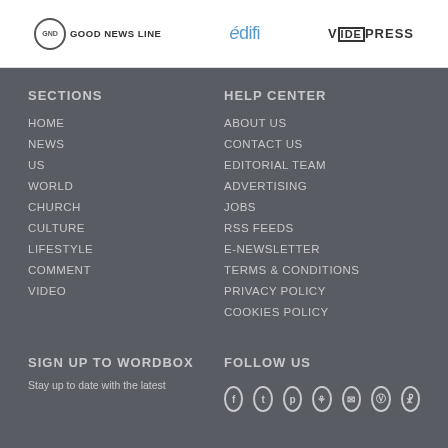[Figure (logo): GND Good News Line logo with circle icon]
[Figure (logo): edifi logo in blue]
[Figure (logo): VidePress logo]
SECTIONS
HOME
NEWS
US
WORLD
CHURCH
CULTURE
LIFESTYLE
COMMENT
VIDEO
HELP CENTER
ABOUT US
CONTACT US
EDITORIAL TEAM
ADVERTISING
JOBS
RSS FEEDS
E-NEWSLETTER
TERMS & CONDITIONS
PRIVACY POLICY
COOKIES POLICY
SIGN UP TO WORDBOX
Stay up to date with the latest
FOLLOW US